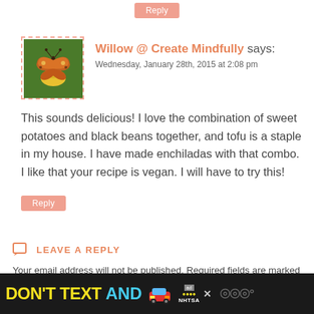Reply
Willow @ Create Mindfully says:
Wednesday, January 28th, 2015 at 2:08 pm
[Figure (photo): Avatar photo of a butterfly on a yellow flower, brown and orange butterfly]
This sounds delicious! I love the combination of sweet potatoes and black beans together, and tofu is a staple in my house. I have made enchiladas with that combo. I like that your recipe is vegan. I will have to try this!
Reply
LEAVE A REPLY
Your email address will not be published. Required fields are marked *
[Figure (other): Advertisement banner: DON'T TEXT AND [car emoji] with NHTSA branding on dark background]